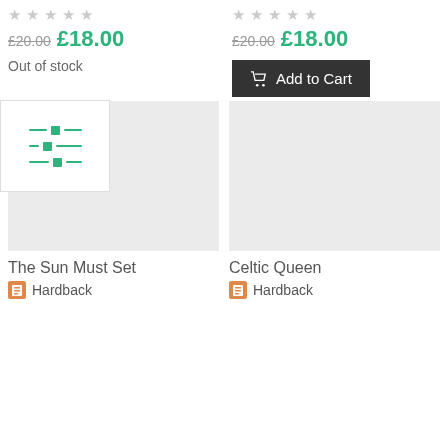[Figure (screenshot): E-commerce product listing page fragment showing two products with ratings, prices, stock status, add to cart button, filter widget, product image placeholders, product titles and format labels.]
£20.00 £18.00 / Out of stock
£20.00 £18.00 / Add to Cart
The Sun Must Set / Hardback
Celtic Queen / Hardback